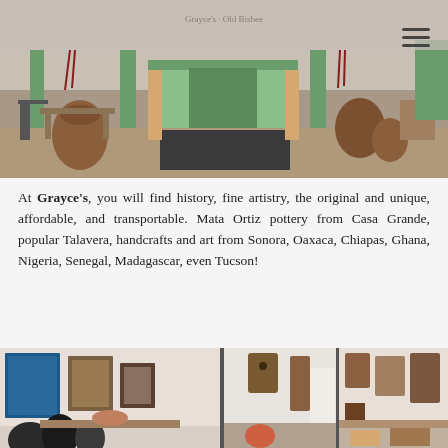[Figure (photo): Exterior storefront of Grayce's with green columns, wooden Native American statues, pottery, and hanging red chili peppers on a covered porch]
At Grayce's, you will find history, fine artistry, the original and unique, affordable, and transportable. Mata Ortiz pottery from Casa Grande, popular Talavera, handcrafts and art from Sonora, Oaxaca, Chiapas, Ghana, Nigeria, Senegal, Madagascar, even Tucson!
[Figure (photo): Interior of Grayce's shop showing artwork on walls, pottery, masks, and handcrafted items on display]